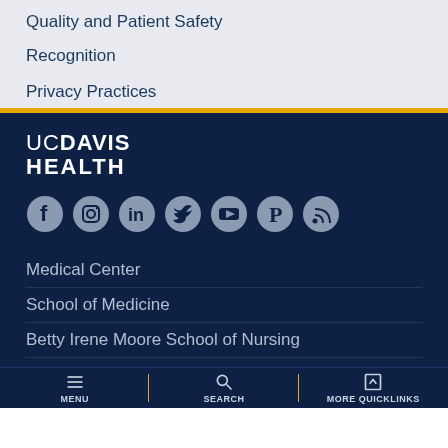Quality and Patient Safety
Recognition
Privacy Practices
[Figure (logo): UC Davis Health logo in white text on dark navy background]
[Figure (infographic): Row of social media icons: Facebook, Instagram, LinkedIn, Twitter, YouTube, Pinterest, RSS]
Medical Center
School of Medicine
Betty Irene Moore School of Nursing
MENU | SEARCH | MORE QUICKLINKS